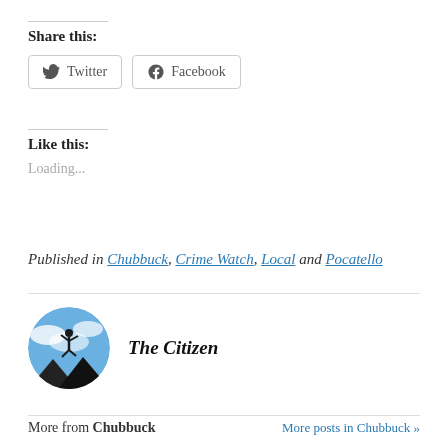Share this:
Twitter  Facebook
Like this:
Loading...
Published in Chubbuck, Crime Watch, Local and Pocatello
[Figure (illustration): Circular avatar image showing a person jumping against a blue sky background with clouds and dark triangular mountains below]
The Citizen
More from Chubbuck
More posts in Chubbuck »